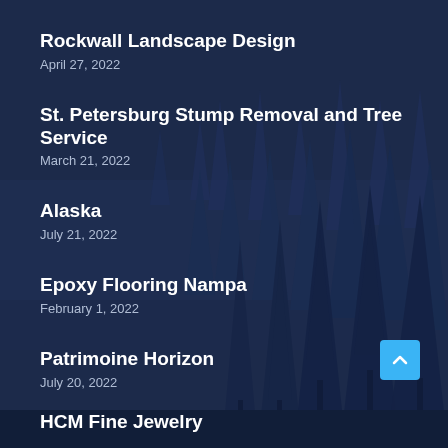Rockwall Landscape Design
April 27, 2022
St. Petersburg Stump Removal and Tree Service
March 21, 2022
Alaska
July 21, 2022
Epoxy Flooring Nampa
February 1, 2022
Patrimoine Horizon
July 20, 2022
HCM Fine Jewelry